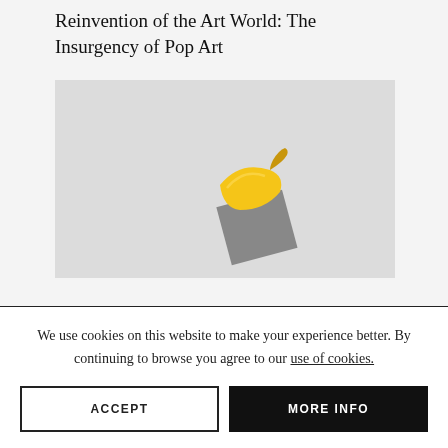Reinvention of the Art World: The Insurgency of Pop Art
[Figure (photo): Photo of a yellow banana taped or attached to a gray surface or card, displayed against a light gray background — reminiscent of Maurizio Cattelan's 'Comedian' artwork]
We use cookies on this website to make your experience better. By continuing to browse you agree to our use of cookies.
ACCEPT
MORE INFO